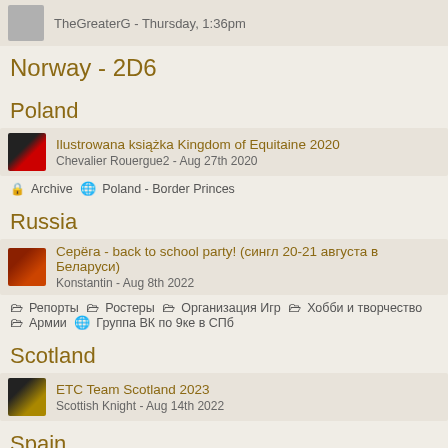TheGreaterG - Thursday, 1:36pm
Norway - 2D6
Poland
Ilustrowana książka Kingdom of Equitaine 2020
Chevalier Rouergue2 - Aug 27th 2020
🔒 Archive 🌐 Poland - Border Princes
Russia
Серёга - back to school party! (сингл 20-21 августа в Беларуси)
Konstantin - Aug 8th 2022
🗁 Репорты 🗁 Ростеры 🗁 Организация Игр 🗁 Хобби и творчество 🗁 Армии 🌐 Группа ВК по 9ке в СПб
Scotland
ETC Team Scotland 2023
Scottish Knight - Aug 14th 2022
Spain
TOE 10 abril 2023
goldmoon - 2 hours ago
🗁 Anuncios e informaciones 🔒 Archive 🗁 Hilos temáticos por ejército